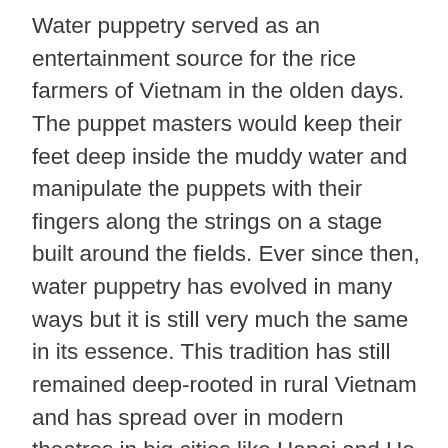Water puppetry served as an entertainment source for the rice farmers of Vietnam in the olden days. The puppet masters would keep their feet deep inside the muddy water and manipulate the puppets with their fingers along the strings on a stage built around the fields. Ever since then, water puppetry has evolved in many ways but it is still very much the same in its essence. This tradition has still remained deep-rooted in rural Vietnam and has spread over in modern theatres in big cities like Hanoi and Ho Chi Minh City making it a popular form of entertainment. Thuy Dinh in Vietnamese is called The modern-day water puppetry theatre. The show portrays 7 to 11 puppeteers, seated deep inside the waters while controlling the puppets in perfect sync behind a bamboo screen. The puppets are made of wood and varnished later to make it lightweight as well as durable. They are controlled via underwater rods that